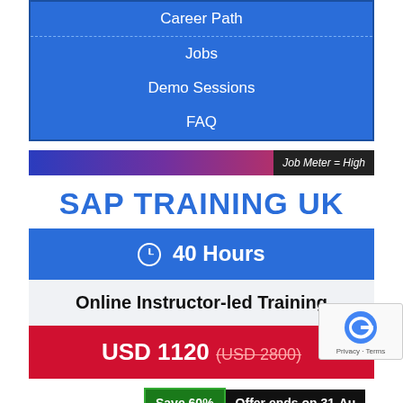Career Path
Jobs
Demo Sessions
FAQ
[Figure (infographic): Job Meter bar showing High level, gradient from blue-purple to dark red, label Job Meter = High]
SAP TRAINING UK
⏱ 40 Hours
Online Instructor-led Training
USD 1120 (USD 2800)
Save 60%  Offer ends on 31-Au...